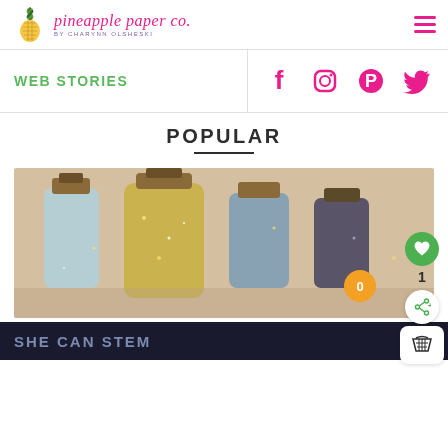pineapple paper co. by CHARYNN OLSHESKI
WEB STORIES
[Figure (infographic): Social media icons row: Facebook, Instagram, Pinterest, Twitter in pink]
POPULAR
[Figure (photo): Glass bottles with cork stoppers and glitter, decorative craft bottles close-up photo]
SHE CAN STEM
SHE CAN STEM